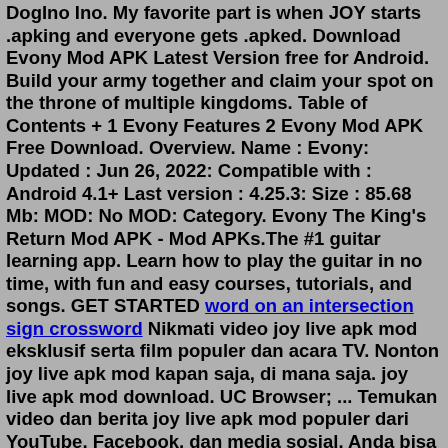DogIno Ino. My favorite part is when JOY starts .apking and everyone gets .apked. Download Evony Mod APK Latest Version free for Android. Build your army together and claim your spot on the throne of multiple kingdoms. Table of Contents + 1 Evony Features 2 Evony Mod APK Free Download. Overview. Name : Evony: Updated : Jun 26, 2022: Compatible with : Android 4.1+ Last version : 4.25.3: Size : 85.68 Mb: MOD: No MOD: Category. Evony The King's Return Mod APK - Mod APKs.The #1 guitar learning app. Learn how to play the guitar in no time, with fun and easy courses, tutorials, and songs. GET STARTED word on an intersection sign crossword Nikmati video joy live apk mod eksklusif serta film populer dan acara TV. Nonton joy live apk mod kapan saja, di mana saja. joy live apk mod download. UC Browser; ... Temukan video dan berita joy live apk mod populer dari YouTube, Facebook, dan media sosial. Anda bisa mendapatkan Berita, Video, Gambar terbaru di joy live apk mod dan melihat ...1 - Download the Mod Menu files on your